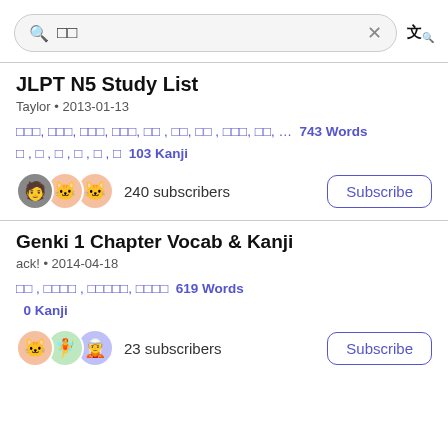□□ [search query]
JLPT N5 Study List
Taylor • 2013-01-13
□□□, □□□, □□□, □□□, □□ , □□, □□ , □□□, □□,... 743 Words
□ , □ , □ , □ , □ , □  103 Kanji
240 subscribers
Genki 1 Chapter Vocab & Kanji
ack! • 2014-04-18
□□ , □□□□ , □□□□□, □□□□  619 Words
0 Kanji
23 subscribers